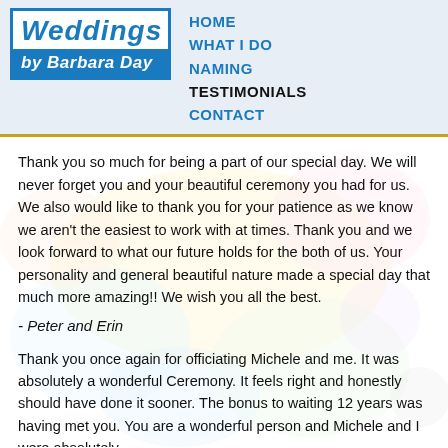[Figure (logo): Weddings by Barbara Day logo: bordered box with 'Weddings' in blue italic and 'by Barbara Day' on blue background in white]
HOME
WHAT I DO
NAMING
TESTIMONIALS
CONTACT
Thank you so much for being a part of our special day. We will never forget you and your beautiful ceremony you had for us. We also would like to thank you for your patience as we know we aren't the easiest to work with at times. Thank you and we look forward to what our future holds for the both of us. Your personality and general beautiful nature made a special day that much more amazing!! We wish you all the best.
- Peter and Erin
Thank you once again for officiating Michele and me. It was absolutely a wonderful Ceremony. It feels right and honestly should have done it sooner. The bonus to waiting 12 years was having met you. You are a wonderful person and Michele and I were absolutely